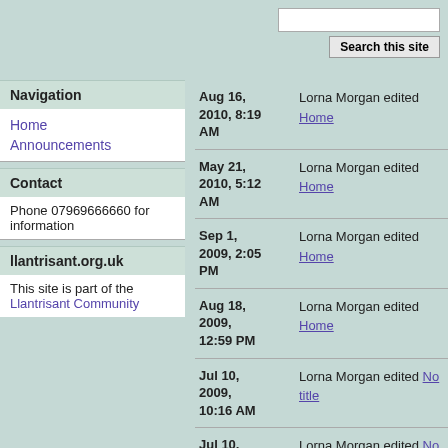Search this site
Navigation
Home
Announcements
Contact
Phone 07969666660 for information
llantrisant.org.uk
This site is part of the Llantrisant Community
Aug 16, 2010, 8:19 AM — Lorna Morgan edited Home
May 21, 2010, 5:12 AM — Lorna Morgan edited Home
Sep 1, 2009, 2:05 PM — Lorna Morgan edited Home
Aug 18, 2009, 12:59 PM — Lorna Morgan edited Home
Jul 10, 2009, 10:16 AM — Lorna Morgan edited No title
Jul 10, 2009, 9:59 — Lorna Morgan edited No title